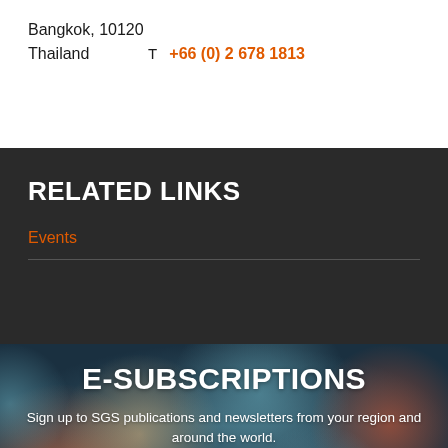Bangkok, 10120
Thailand
T  +66 (0) 2 678 1813
RELATED LINKS
Events
E-SUBSCRIPTIONS
Sign up to SGS publications and newsletters from your region and around the world.
SCRIBE NOW